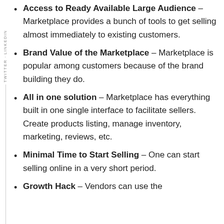Access to Ready Available Large Audience – Marketplace provides a bunch of tools to get selling almost immediately to existing customers.
Brand Value of the Marketplace – Marketplace is popular among customers because of the brand building they do.
All in one solution – Marketplace has everything built in one single interface to facilitate sellers. Create products listing, manage inventory, marketing, reviews, etc.
Minimal Time to Start Selling – One can start selling online in a very short period.
Growth Hack – Vendors can use the